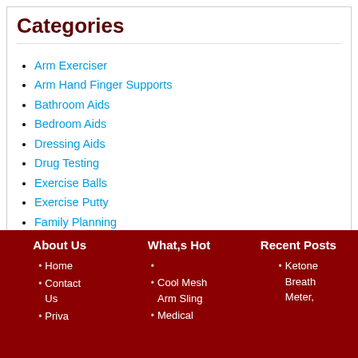Categories
Arm Exerciser
Arm Hand Finger Supports
Bathroom Aids
Bedroom Aids
Dressing Aids
Drug Testing
Exercise Balls
Exercise Putty
Family Planning
Funeral
Hand Exerciser
Health Testing
Hip Replacement
Leg Exerciser
Muscle Stimulator
Sensory Motor Aids
Speech & Communication Aids
Traction Equipment
About Us | What,s Hot | Recent Posts — Home, Contact Us | Cool Mesh Arm Sling, Medical | Ketone Breath Meter,